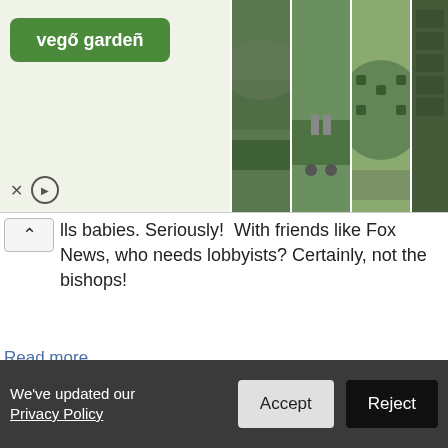[Figure (screenshot): Advertisement banner for 'vego garden' showing logo and product images of raised garden beds]
lls babies. Seriously!  With friends like Fox News, who needs lobbyists? Certainly, not the bishops!
Read more
4 reactions   Share
Cavuto Pretends There Are No “Real” Cuts In Obama’s Budget (Read: Poor People Not Sacrificing Enough)
POSTED BY BRIAN · FEBRUARY 15, 2012 12:58 PM · 2 REACTIONS
We’ve updated our Privacy Policy   Accept   Reject